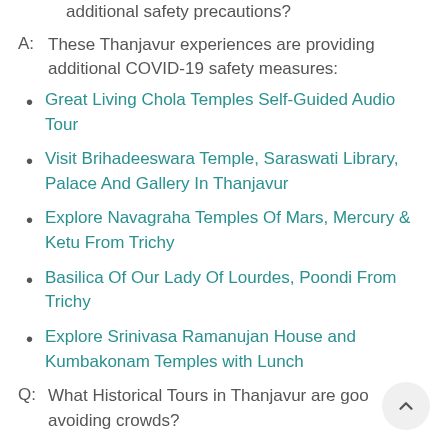additional safety precautions?
A: These Thanjavur experiences are providing additional COVID-19 safety measures:
Great Living Chola Temples Self-Guided Audio Tour
Visit Brihadeeswara Temple, Saraswati Library, Palace And Gallery In Thanjavur
Explore Navagraha Temples Of Mars, Mercury & Ketu From Trichy
Basilica Of Our Lady Of Lourdes, Poondi From Trichy
Explore Srinivasa Ramanujan House and Kumbakonam Temples with Lunch
Q: What Historical Tours in Thanjavur are good avoiding crowds?